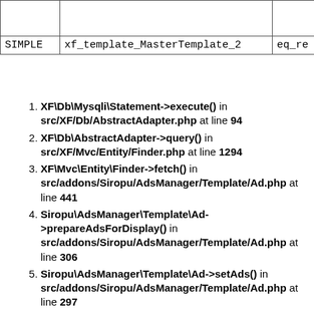|  |  |  |
| --- | --- | --- |
|  |  |  |
| SIMPLE | xf_template_MasterTemplate_2 | eq_re |
XF\Db\Mysqli\Statement->execute() in src/XF/Db/AbstractAdapter.php at line 94
XF\Db\AbstractAdapter->query() in src/XF/Mvc/Entity/Finder.php at line 1294
XF\Mvc\Entity\Finder->fetch() in src/addons/Siropu/AdsManager/Template/Ad.php at line 441
Siropu\AdsManager\Template\Ad->prepareAdsForDisplay() in src/addons/Siropu/AdsManager/Template/Ad.php at line 306
Siropu\AdsManager\Template\Ad->setAds() in src/addons/Siropu/AdsManager/Template/Ad.php at line 297
Siropu\AdsManager\Template\Ad->__construct() in src/addons/Siropu/AdsManager/Listener.php at line 38
Siropu\AdsManager\Listener::templaterGlobalData(
call_user_func_array() in src/XF/Extension.php at